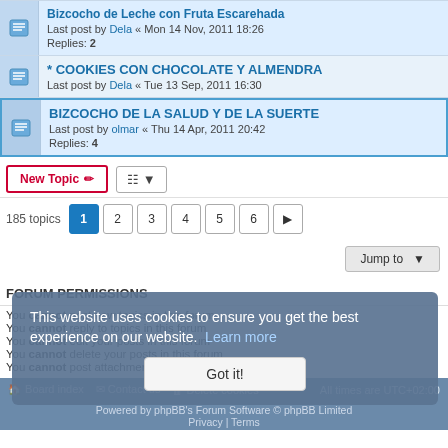Bizcocho de Leche con Fruta Escarehada - Last post by Dela « Mon 14 Nov, 2011 18:26 - Replies: 2
* COOKIES CON CHOCOLATE Y ALMENDRA - Last post by Dela « Tue 13 Sep, 2011 16:30
BIZCOCHO DE LA SALUD Y DE LA SUERTE - Last post by olmar « Thu 14 Apr, 2011 20:42 - Replies: 4
New Topic | sort | 185 topics | 1 2 3 4 5 6 > | Jump to
FORUM PERMISSIONS
You cannot post new topics in this forum
You cannot reply to topics in this forum
You cannot edit your posts in this forum
You cannot delete your posts in this forum
You cannot post attachments in this forum
Board index | Contact us | Delete cookies | All times are UTC+02:00 | Powered by phpBB's Forum Software © phpBB Limited | Privacy | Terms
This website uses cookies to ensure you get the best experience on our website. Learn more | Got it!